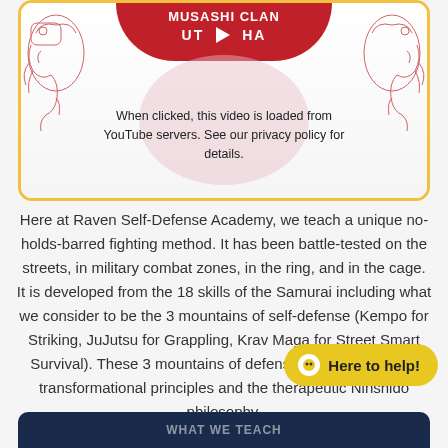[Figure (screenshot): Video thumbnail for Musashi Clan with red banner showing 'MUSASHI CLAN UT ► HA', decorative dragon illustrations on left and right, pink circle overlay, and privacy notice text: 'When clicked, this video is loaded from YouTube servers. See our privacy policy for details.']
Here at Raven Self-Defense Academy, we teach a unique no-holds-barred fighting method. It has been battle-tested on the streets, in military combat zones, in the ring, and in the cage. It is developed from the 18 skills of the Samurai including what we consider to be the 3 mountains of self-defense (Kempo for Striking, JuJutsu for Grappling, Krav Maga for Street Smart Survival). These 3 mountains of defense are backed up by transformational principles and the therapeutic Ninshido philosophy.